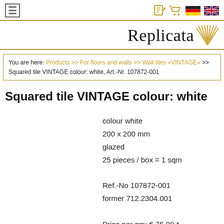≡  [note icon] [cart icon] [DE flag] [UK flag]
Replicata
You are here: Products >> For floors and walls >> Wall tiles «VINTAGE» >> Squared tile VINTAGE colour: white, Art.-Nr. 107872-001
Squared tile VINTAGE colour: white
colour white
200 x 200 mm
glazed
25 pieces / box = 1 sqm

Ref.-No 107872-001
former 712.2304.001

Price per qm: € 75,00 *